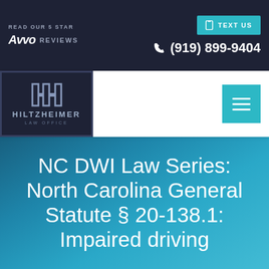READ OUR 5 STAR Avvo REVIEWS | TEXT US | (919) 899-9404
[Figure (logo): Hiltzheimer Law Office logo — dark navy box with stylized H icon and firm name]
NC DWI Law Series: North Carolina General Statute § 20-138.1: Impaired driving